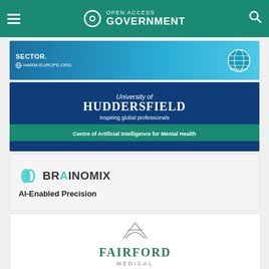Open Access Government
[Figure (logo): No Harm Europe advertisement banner with text SECTOR. and noharm-europe.org URL with globe logo]
[Figure (logo): University of Huddersfield - Inspiring global professionals - Centre of Artificial Intelligence for Mental Health]
[Figure (logo): Brainomix logo with AI-Enabled Precision tagline]
[Figure (logo): Fairford Medical logo with decorative mark]
[Figure (logo): McGill University - J.D. MacLean Centre for partial text visible]